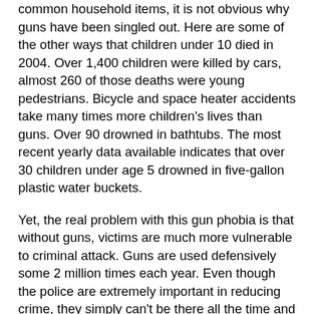common household items, it is not obvious why guns have been singled out. Here are some of the other ways that children under 10 died in 2004. Over 1,400 children were killed by cars, almost 260 of those deaths were young pedestrians. Bicycle and space heater accidents take many times more children's lives than guns. Over 90 drowned in bathtubs. The most recent yearly data available indicates that over 30 children under age 5 drowned in five-gallon plastic water buckets.
Yet, the real problem with this gun phobia is that without guns, victims are much more vulnerable to criminal attack. Guns are used defensively some 2 million times each year. Even though the police are extremely important in reducing crime, they simply can't be there all the time and virtually always arrive after the crime has been committed. Having a gun is by far the safest course of action when one is confronted by a criminal.
The cases where young children use guns to save their family's lives rarely makes the news. Recent examples where children's lives were clearly lost because guns were